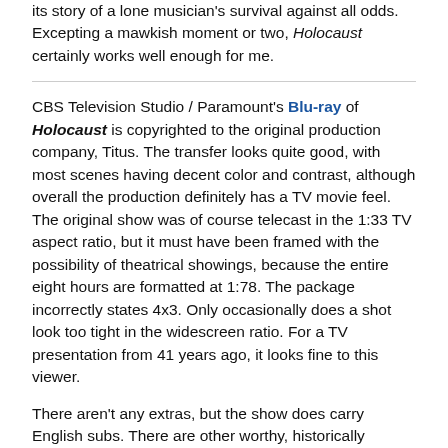its story of a lone musician's survival against all odds. Excepting a mawkish moment or two, Holocaust certainly works well enough for me.
CBS Television Studio / Paramount's Blu-ray of Holocaust is copyrighted to the original production company, Titus. The transfer looks quite good, with most scenes having decent color and contrast, although overall the production definitely has a TV movie feel. The original show was of course telecast in the 1:33 TV aspect ratio, but it must have been framed with the possibility of theatrical showings, because the entire eight hours are formatted at 1:78. The package incorrectly states 4x3. Only occasionally does a shot look too tight in the widescreen ratio. For a TV presentation from 41 years ago, it looks fine to this viewer.
There aren't any extras, but the show does carry English subs. There are other worthy, historically important TV movie productions that could use some attention. I would hope that rights holders are finding a way to remaster the 3-hour 1976